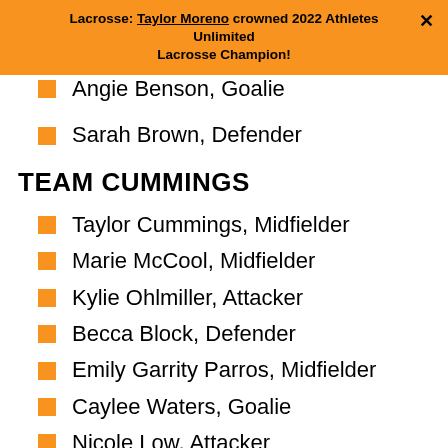Lacrosse: Taylor Moreno crowned 2022 Athletes Unlimited Lacrosse Champion!
Angie Benson, Goalie
Sarah Brown, Defender
TEAM CUMMINGS
Taylor Cummings, Midfielder
Marie McCool, Midfielder
Kylie Ohlmiller, Attacker
Becca Block, Defender
Emily Garrity Parros, Midfielder
Caylee Waters, Goalie
Nicole Low, Attacker